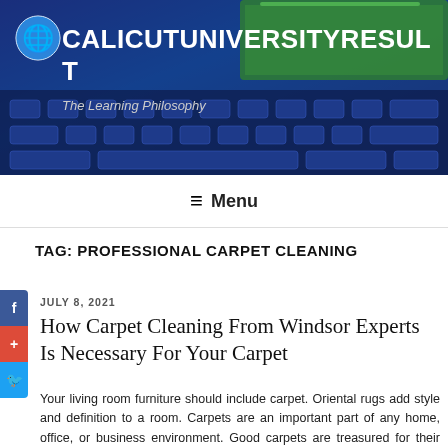[Figure (screenshot): Website header banner with blue keyboard/classroom background image, globe emoji, site title CALICUTUNIVERSITYRESULT and tagline The Learning Philosophy]
≡ Menu
TAG: PROFESSIONAL CARPET CLEANING
JULY 8, 2021
How Carpet Cleaning From Windsor Experts Is Necessary For Your Carpet
Your living room furniture should include carpet. Oriental rugs add style and definition to a room. Carpets are an important part of any home, office, or business environment. Good carpets are treasured for their beauty and longevity, often